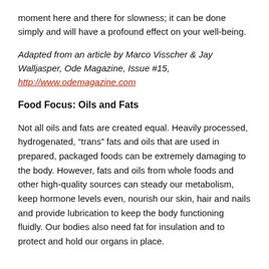moment here and there for slowness; it can be done simply and will have a profound effect on your well-being.
Adapted from an article by Marco Visscher & Jay Walljasper, Ode Magazine, Issue #15, http://www.odemagazine.com
Food Focus: Oils and Fats
Not all oils and fats are created equal. Heavily processed, hydrogenated, “trans” fats and oils that are used in prepared, packaged foods can be extremely damaging to the body. However, fats and oils from whole foods and other high-quality sources can steady our metabolism, keep hormone levels even, nourish our skin, hair and nails and provide lubrication to keep the body functioning fluidly. Our bodies also need fat for insulation and to protect and hold our organs in place.